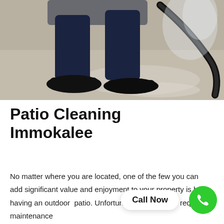[Figure (photo): Person in dark pants and black shoes pressure washing a concrete floor, holding a black hose]
Patio Cleaning Immokalee
No matter where you are located, one of the few you can add significant value and enjoyment to your property is by having an outdoor patio. Unfortunately, a patio will require maintenance